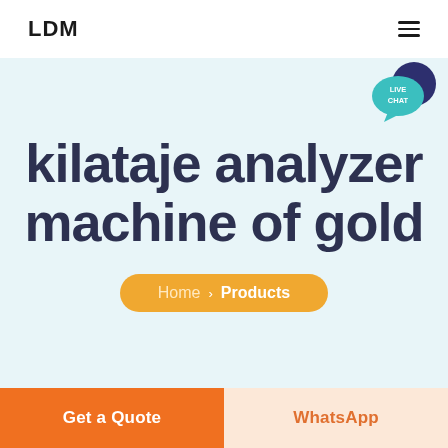LDM
kilataje analyzer machine of gold
Home > Products
[Figure (logo): Live Chat speech bubble icon in teal/dark blue]
Get a Quote
WhatsApp